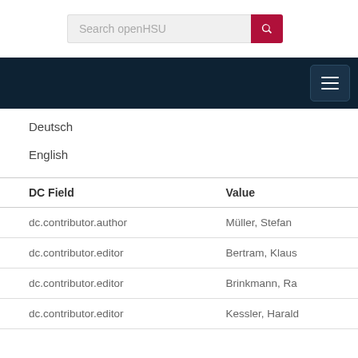[Figure (screenshot): Search bar with placeholder 'Search openHSU' and a dark red search button with magnifier icon]
[Figure (screenshot): Dark navy navigation bar with a hamburger menu button (three horizontal lines) on the right]
Deutsch
English
| DC Field | Value |
| --- | --- |
| dc.contributor.author | Müller, Stefan |
| dc.contributor.editor | Bertram, Klaus |
| dc.contributor.editor | Brinkmann, Ra |
| dc.contributor.editor | Kessler, Harald |